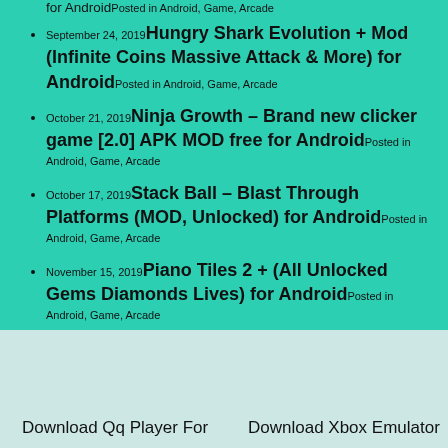September 24, 2019 Hungry Shark Evolution + Mod (Infinite Coins Massive Attack & More) for Android Posted in Android, Game, Arcade
October 21, 2019 Ninja Growth – Brand new clicker game [2.0] APK MOD free for Android Posted in Android, Game, Arcade
October 17, 2019 Stack Ball – Blast Through Platforms (MOD, Unlocked) for Android Posted in Android, Game, Arcade
November 15, 2019 Piano Tiles 2 + (All Unlocked Gems Diamonds Lives) for Android Posted in Android, Game, Arcade
Download Qq Player For     Download Xbox Emulator